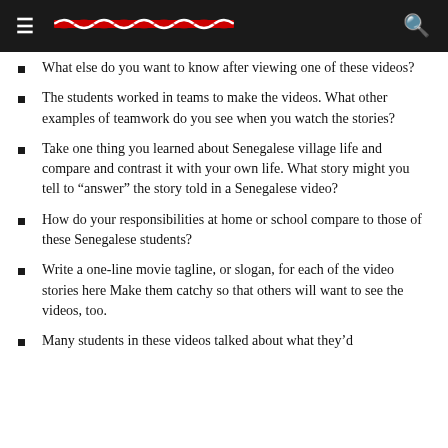[ navigation header with logo ]
What else do you want to know after viewing one of these videos?
The students worked in teams to make the videos. What other examples of teamwork do you see when you watch the stories?
Take one thing you learned about Senegalese village life and compare and contrast it with your own life. What story might you tell to “answer” the story told in a Senegalese video?
How do your responsibilities at home or school compare to those of these Senegalese students?
Write a one-line movie tagline, or slogan, for each of the video stories here Make them catchy so that others will want to see the videos, too.
Many students in these videos talked about what they’d